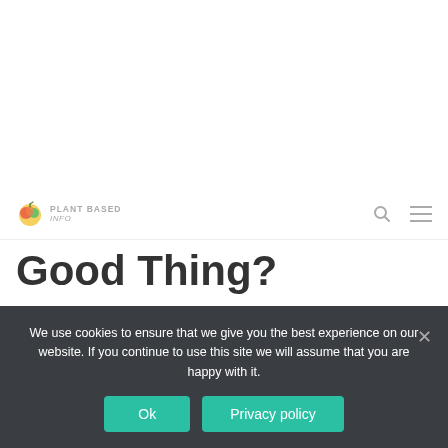PLANT BASED Info
Good Thing?
Diets can be a lot like fashion. Fads come and go.
We use cookies to ensure that we give you the best experience on our website. If you continue to use this site we will assume that you are happy with it.